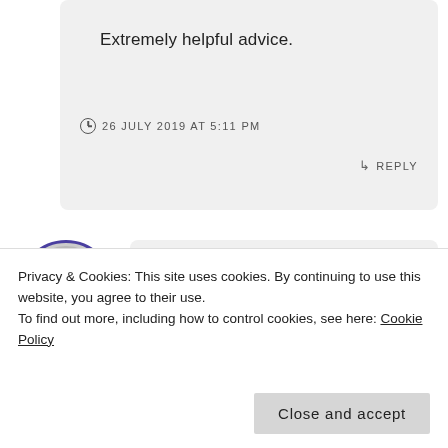Extremely helpful advice.
26 JULY 2019 AT 5:11 PM
REPLY
Ari
Privacy & Cookies: This site uses cookies. By continuing to use this website, you agree to their use.
To find out more, including how to control cookies, see here: Cookie Policy
Close and accept
5 AUGUST 2019 AT 5:31 PM
REPLY